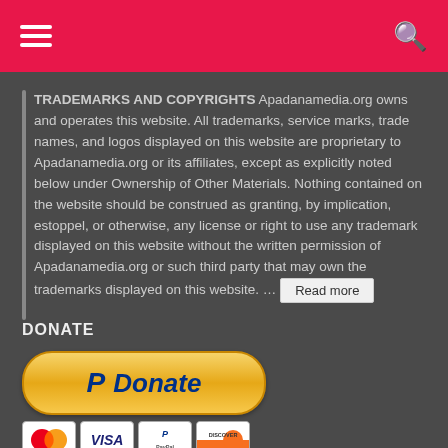Navigation header with hamburger menu and search icon
TRADEMARKS AND COPYRIGHTS Apadanamedia.org owns and operates this website. All trademarks, service marks, trade names, and logos displayed on this website are proprietary to Apadanamedia.org or its affiliates, except as explicitly noted below under Ownership of Other Materials. Nothing contained on the website should be construed as granting, by implication, estoppel, or otherwise, any license or right to use any trademark displayed on this website without the written permission of Apadanamedia.org or such third party that may own the trademarks displayed on this website. ... Read more
DONATE
[Figure (logo): PayPal Donate button with yellow gradient rounded rectangle, PayPal P logo in blue and Donate text in blue italic, with payment card logos below: MasterCard, VISA, PayPal, Discover]